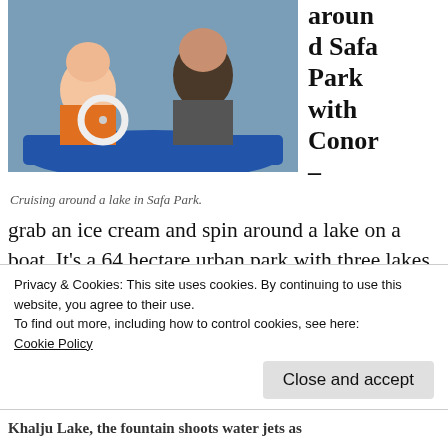[Figure (photo): Two people sitting in a blue paddleboat on a lake, one holding a white steering wheel, wearing life jackets and colorful clothing.]
Cruising around a lake in Safa Park.
around Safa Park with Conor –
grab an ice cream and spin around a lake on a boat. It's a 64 hectare urban park with three lakes, over 200 species of birds, and 16,924 different trees and bushes. It's also one of the few places you'll find grass rather than sand.
Privacy & Cookies: This site uses cookies. By continuing to use this website, you agree to their use.
To find out more, including how to control cookies, see here:
Cookie Policy
Close and accept
Khalju Lake, the fountain shoots water jets as